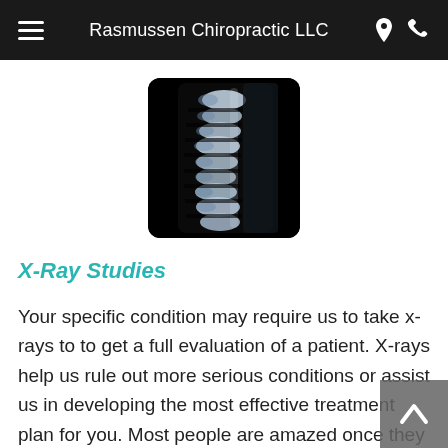Rasmussen Chiropractic LLC
[Figure (photo): X-ray image of cervical spine (neck vertebrae), side view, showing vertebral bones in white/grey against black background, with rounded corners]
X-Ray Studies
Your specific condition may require us to take x-rays to to get a full evaluation of a patient. X-rays help us rule out more serious conditions or assist us in developing the most effective treatment plan for you. Most people are amazed once they their x-rays and can often immediately identify their misalignments and degeneration themselves.